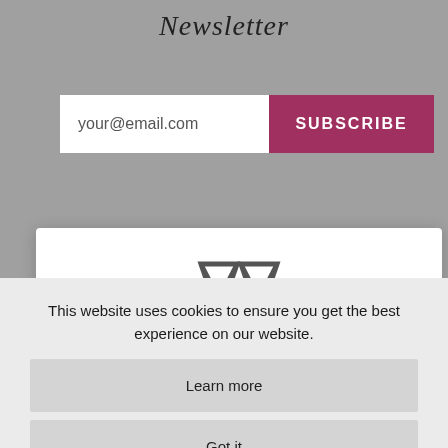Newsletter
your@email.com
SUBSCRIBE
[Figure (logo): Two overlapping hourglass/diamond shaped logo icons in dark gray]
We have store made for the US.
This website uses cookies to ensure you get the best experience on our website.
Learn more
Got it